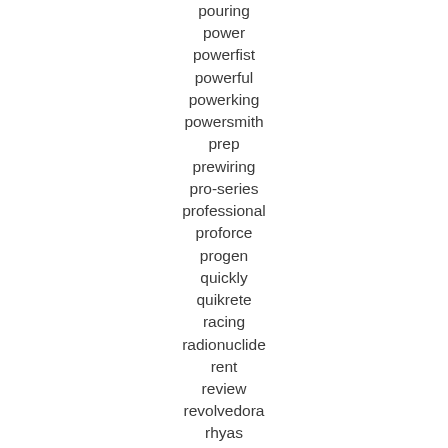pouring
power
powerfist
powerful
powerking
powersmith
prep
prewiring
pro-series
professional
proforce
progen
quickly
quikrete
racing
radionuclide
rent
review
revolvedora
rhyas
ritter
road
rocwood
ruyika
ryobi